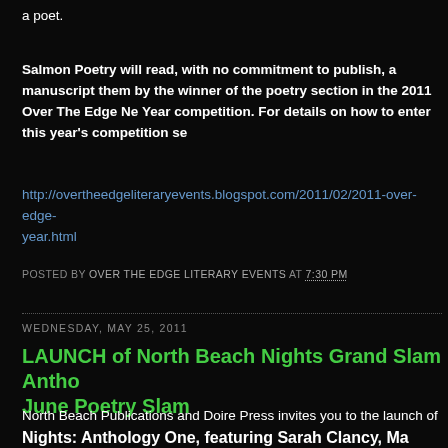a poet.
Salmon Poetry will read, with no commitment to publish, a manuscript sent to them by the winner of the poetry section in the 2011 Over The Edge New Writer of the Year competition. For details on how to enter this year's competition see http://overtheedgeliteraryevents.blogspot.com/2011/02/2011-over-edge-new-writer-of-year.html
POSTED BY OVER THE EDGE LITERARY EVENTS AT 7:30 PM
WEDNESDAY, MAY 25, 2011
LAUNCH of North Beach Nights Grand Slam Anthology & June Poetry Slam
North Beach Publications and Doire Press invites you to the launch of North Beach Nights: Anthology One, featuring Sarah Clancy, Ma... Mikey McCrory, with a forward by Billy Ramsell.
Monday, June 20th, 7.30pm in The Crane Bar
Launch by Billy Ramsell